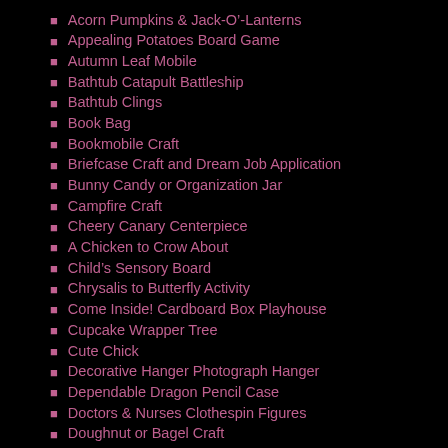Acorn Pumpkins & Jack-O'-Lanterns
Appealing Potatoes Board Game
Autumn Leaf Mobile
Bathtub Catapult Battleship
Bathtub Clings
Book Bag
Bookmobile Craft
Briefcase Craft and Dream Job Application
Bunny Candy or Organization Jar
Campfire Craft
Cheery Canary Centerpiece
A Chicken to Crow About
Child's Sensory Board
Chrysalis to Butterfly Activity
Come Inside! Cardboard Box Playhouse
Cupcake Wrapper Tree
Cute Chick
Decorative Hanger Photograph Hanger
Dependable Dragon Pencil Case
Doctors & Nurses Clothespin Figures
Doughnut or Bagel Craft
Douglas Spool Puppy
Dragonfly Magnet or Decoration